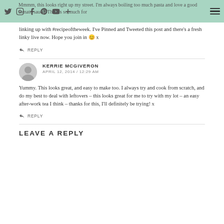Mmmm, this looks right up my street. I'm always boiling too much pasta and love a good tomato sauce. Thanks so much for linking up with #recipeoftheweek. I've Pinned and Tweeted this post and there's a fresh linky live now. Hope you join in 😊 x
↩ REPLY
KERRIE MCGIVERON
APRIL 12, 2014 / 12:29 AM
Yummy. This looks great, and easy to make too. I always try and cook from scratch, and do my best to deal with leftovers – this looks great for me to try with my lot – an easy after-work tea I think – thanks for this, I'll definitely be trying! x
↩ REPLY
LEAVE A REPLY